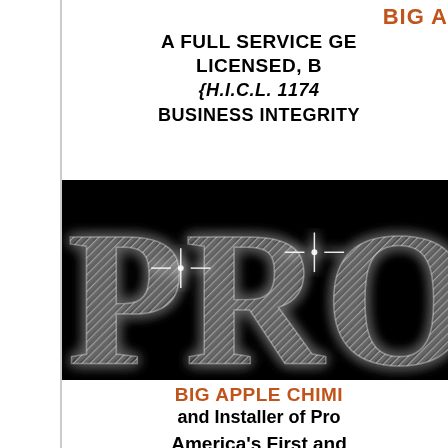BIG A...
A FULL SERVICE GE... LICENSED, B... {H.I.C.L. 1174...
BUSINESS INTEGRITY
[Figure (logo): Big Apple Chimney logo banner with large 'PRO' text in metallic/diamond style on black background with glowing white effect]
BIG APPLE CHIMI...
and Installer of Pro...
America's First and